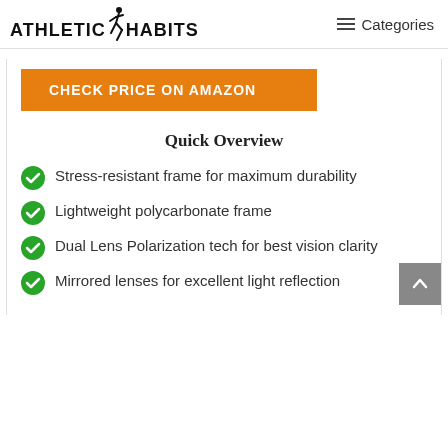ATHLETIC HABITS  Categories
CHECK PRICE ON AMAZON
Quick Overview
Stress-resistant frame for maximum durability
Lightweight polycarbonate frame
Dual Lens Polarization tech for best vision clarity
Mirrored lenses for excellent light reflection